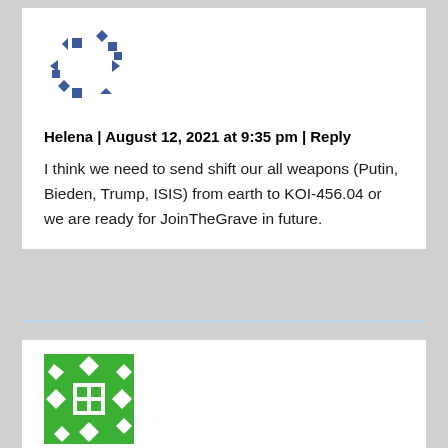[Figure (illustration): Abstract avatar icon made of dark blue geometric arrow and square shapes arranged in a circle on white background]
Helena | August 12, 2021 at 9:35 pm | Reply
I think we need to send shift our all weapons (Putin, Bieden, Trump, ISIS) from earth to KOI-456.04 or we are ready for JoinTheGrave in future.
[Figure (illustration): Green square avatar with white diamond and arrow shapes, green squares in center grid pattern]
Cynthia Binder | January 4, 2022 at 5:52 am | Reply